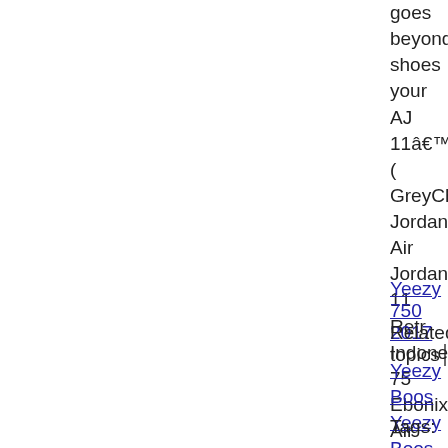goes beyond shoes your AJ 11â€™s. GreyCheap Jordan Air Jordan 11 Retr IndonesiaYeezy 75 Ebonix Air Jordan Jordan 10 Linen C Olive Green Jorda GreyCheap Jordan Grey 10 JordanYe Watching Tv Emo Red Black ShoesY GreyCheap Legit GreyCheap 72-10 750 Light GreyCh
Yeezy 750 2017
Related topics▏
Yeezy Boos Yeezy Boos Yeezy Boos
Tags: